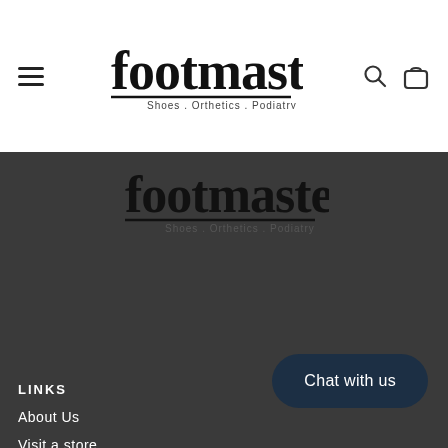[Figure (logo): Footmaster logo — Shoes . Orthetics . Podiatry — in header]
[Figure (logo): Footmaster logo — Shoes . Orthetics . Podiatry — in dark footer]
LINKS
About Us
Visit a store
Shipping Policy
Care Instructions
Chat with us